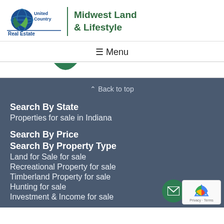[Figure (logo): United Country Real Estate logo with globe icon and green leaf motif]
Midwest Land & Lifestyle
≡ Menu
^ Back to top
Search By State
Properties for sale in Indiana
Search By Price
Search By Property Type
Land for Sale for sale
Recreational Property for sale
Timberland Property for sale
Hunting for sale
Investment & Income for sale